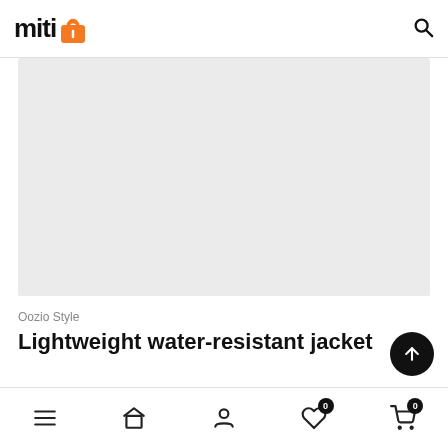miti [logo with orange bag icon] [search icon]
[Figure (photo): Light gray placeholder rectangle for product image]
Oozio Style
Lightweight water-resistant jacket
Best quality of materials
Bottom navigation bar with menu, home, profile, wishlist (0), cart (0) icons